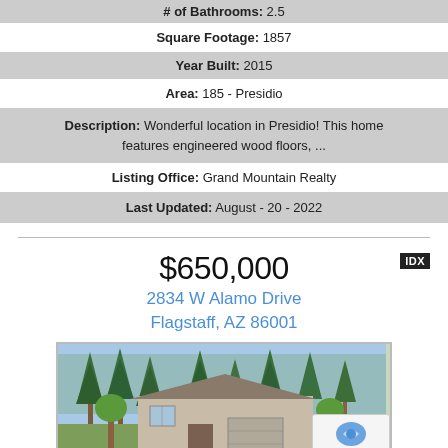# of Bathrooms: 2.5
Square Footage: 1857
Year Built: 2015
Area: 185 - Presidio
Description: Wonderful location in Presidio! This home features engineered wood floors, ...
Listing Office: Grand Mountain Realty
Last Updated: August - 20 - 2022
$650,000
2834 W Alamo Drive
Flagstaff, AZ 86001
[Figure (photo): Exterior photo of a single-story house with tall pine trees in the background, Flagstaff AZ]